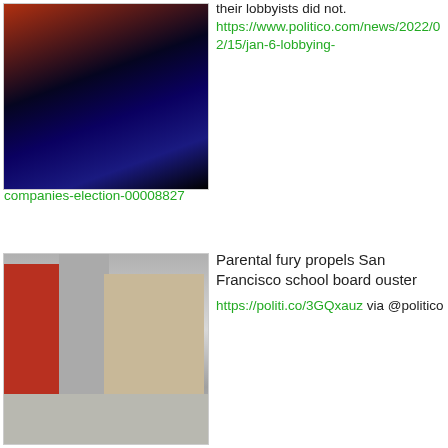[Figure (photo): Dark image with orange and blue lighting, silhouettes of people]
...their lobbyists did not. https://www.politico.com/news/2022/02/15/jan-6-lobbying-companies-election-00008827
[Figure (photo): San Francisco school building exterior with red brick, steps and railings, people walking in foreground]
Parental fury propels San Francisco school board ouster https://politi.co/3GQxauz via @politico